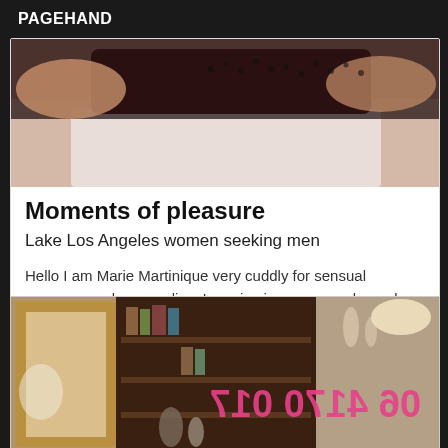PAGEHAND
[Figure (photo): Photo of a person in black lace clothing lying on a bed]
Moments of pleasure
Lake Los Angeles women seeking men
Hello I am Marie Martinique very cuddly for sensual massage and accomplice. I receive in a warm, calm and discreet.
[Figure (photo): Interior room photo with shelves, figurines, mirror, and pink text overlay showing a phone number in reverse]